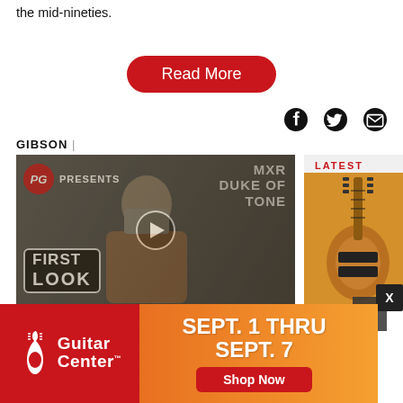the mid-nineties.
Read More
[Figure (other): Social media icons: Facebook, Twitter, Email]
GIBSON |
[Figure (screenshot): Video thumbnail: PG Presents - MXR Duke of Tone, First Look. Shows a person holding a guitar with video overlay text.]
LATEST
[Figure (photo): Orange/yellow electric guitar photo on right side]
Dave Mustaine
[Figure (infographic): Guitar Center advertisement: SEPT. 1 THRU SEPT. 7, Shop Now button]